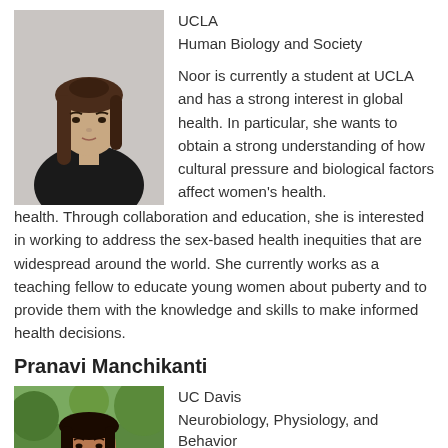[Figure (photo): Headshot of a young woman with long dark hair wearing a dark top, light gray background]
UCLA
Human Biology and Society
Noor is currently a student at UCLA and has a strong interest in global health. In particular, she wants to obtain a strong understanding of how cultural pressure and biological factors affect women's health. Through collaboration and education, she is interested in working to address the sex-based health inequities that are widespread around the world. She currently works as a teaching fellow to educate young women about puberty and to provide them with the knowledge and skills to make informed health decisions.
Pranavi Manchikanti
[Figure (photo): Headshot of a young woman with long dark hair wearing a red top, outdoor background with trees]
UC Davis
Neurobiology, Physiology, and Behavior
Pranavi is passionate about advocating for equity in healthcare with interests in menstrual poverty, nutritional medicine,